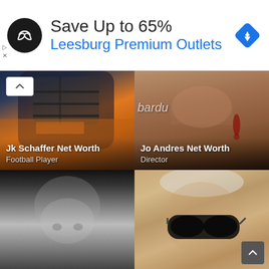[Figure (infographic): Advertisement banner: circular black logo with infinity-like symbol, text 'Save Up to 65%' in dark, 'Leesburg Premium Outlets' in blue, blue diamond navigation icon on right. Small play and X icons on left side.]
[Figure (photo): Football player in orange/dark uniform and black helmet, seen from chest up. Overlay text: 'Jk Schaffer Net Worth' and 'Football Player']
[Figure (photo): Close-up of woman with red hair and earrings, partial 'bardu' watermark visible. Overlay text: 'Jo Andres Net Worth' and 'Director']
[Figure (photo): Black and white close-up photo of an older man's face, looking forward.]
[Figure (photo): Close-up of older man with white/grey hair wearing large black sunglasses, color photo.]